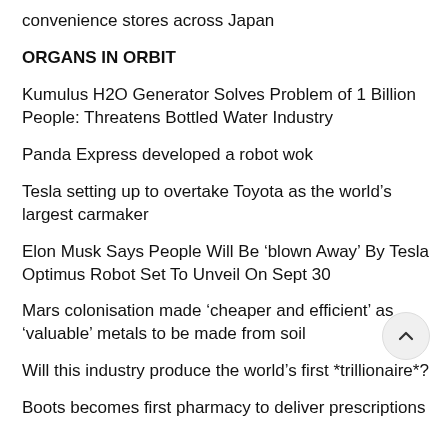convenience stores across Japan
ORGANS IN ORBIT
Kumulus H2O Generator Solves Problem of 1 Billion People: Threatens Bottled Water Industry
Panda Express developed a robot wok
Tesla setting up to overtake Toyota as the world's largest carmaker
Elon Musk Says People Will Be 'blown Away' By Tesla Optimus Robot Set To Unveil On Sept 30
Mars colonisation made 'cheaper and efficient' as 'valuable' metals to be made from soil
Will this industry produce the world's first *trillionaire*?
Boots becomes first pharmacy to deliver prescriptions